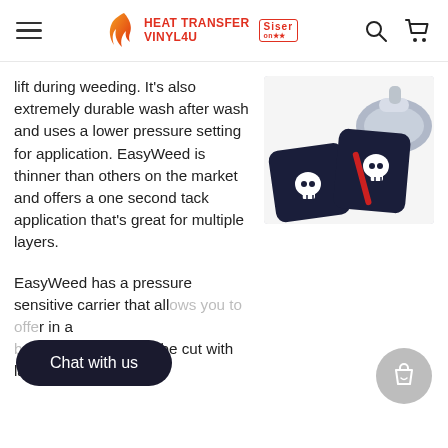Heat Transfer Vinyl4U - Siser logo, hamburger menu, search and cart icons
lift during weeding. It's also extremely durable wash after wash and uses a lower pressure setting for application. EasyWeed is thinner than others on the market and offers a one second tack application that's great for multiple layers.
[Figure (photo): Dark navy socks with white skull designs next to a clothes iron and a red tool on a white surface]
EasyWeed has a pressure sensitive carrier that allows you to offer... in a ...brics. EasyWeed can be cut with laser cutting systems